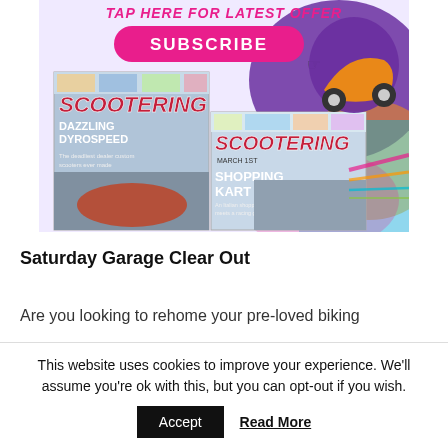[Figure (illustration): Magazine subscription advertisement showing 'TAP HERE FOR LATEST OFFER' text, a pink SUBSCRIBE button, two Scootering magazine covers (one showing 'DAZZLING DYROSPEED', one showing 'SHOPPING KART'), and a colorful illustrated scooter on the right side.]
Saturday Garage Clear Out
Are you looking to rehome your pre-loved biking
This website uses cookies to improve your experience. We'll assume you're ok with this, but you can opt-out if you wish.
Accept   Read More